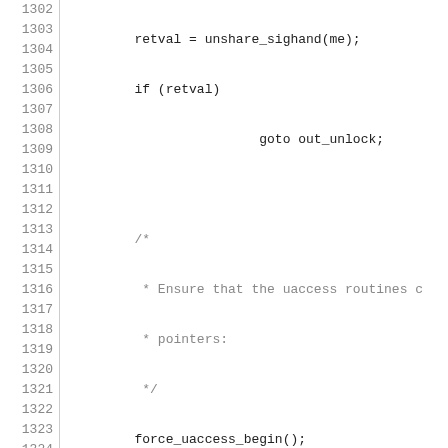[Figure (other): Source code listing with line numbers 1302-1331, showing C kernel code for process execution handling including unshare_sighand, force_uaccess_begin, flags manipulation, flush_thread, clear_syscall_work, do_close_on_exec, and secureexec handling.]